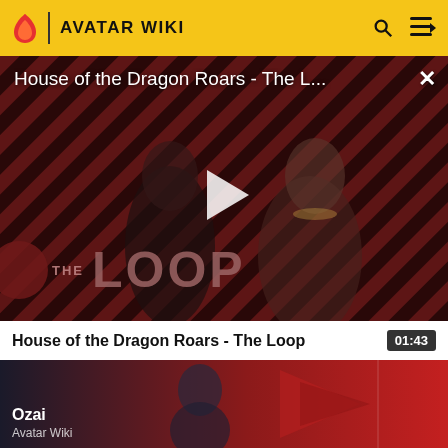AVATAR WIKI
[Figure (screenshot): Video player showing 'House of the Dragon Roars - The L...' with play button overlay, diagonal red/black stripe background, two figures, and 'THE LOOP' text overlay]
House of the Dragon Roars - The Loop    01:43
[Figure (screenshot): Thumbnail for next video showing animated character 'Ozai' from Avatar Wiki against a red background]